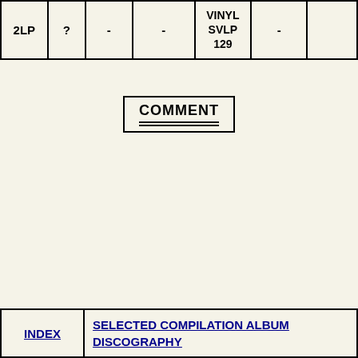| 2LP | ? | - | - | VINYL
SVLP
129 | - |  |
COMMENT
| INDEX | SELECTED COMPILATION ALBUM DISCOGRAPHY |